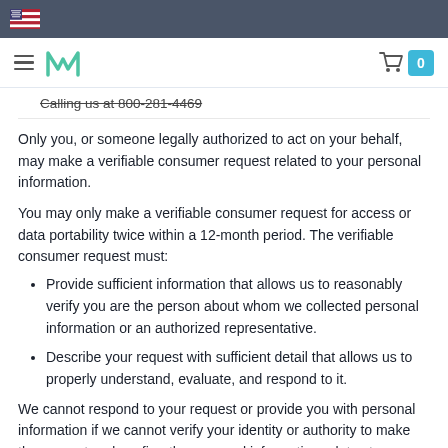Navigation bar with hamburger menu, logo, and cart icon
Calling us at 800-281-4469
Only you, or someone legally authorized to act on your behalf, may make a verifiable consumer request related to your personal information.
You may only make a verifiable consumer request for access or data portability twice within a 12-month period. The verifiable consumer request must:
Provide sufficient information that allows us to reasonably verify you are the person about whom we collected personal information or an authorized representative.
Describe your request with sufficient detail that allows us to properly understand, evaluate, and respond to it.
We cannot respond to your request or provide you with personal information if we cannot verify your identity or authority to make the request and confirm the personal information relates to you.